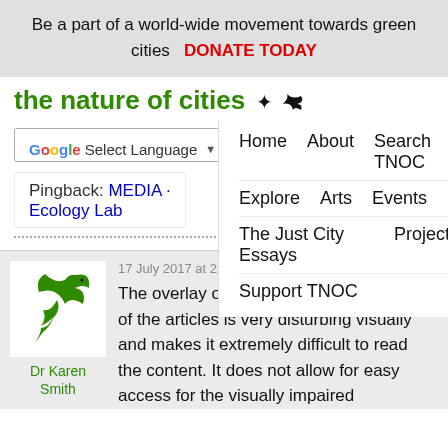Be a part of a world-wide movement towards green cities   DONATE TODAY
the nature of cities
Select Language  Home  About  Search TNOC  Explore  Arts  Events  The Just City Essays  Projects  Support TNOC
Pingback: MEDIA · Ecology Lab
17 July 2017 at 22:02
Dr Karen Smith
The overlay of the comments on the text of the articles is very disturbing visually and makes it extremely difficult to read the content. It does not allow for easy access for the visually impaired